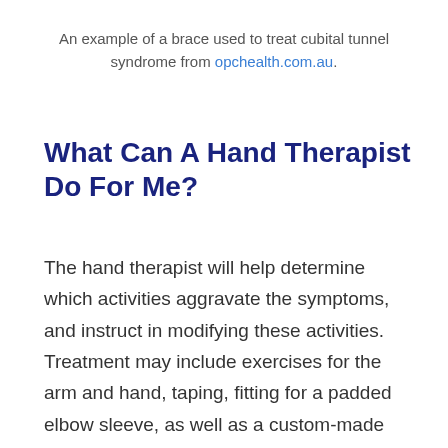An example of a brace used to treat cubital tunnel syndrome from opchealth.com.au.
What Can A Hand Therapist Do For Me?
The hand therapist will help determine which activities aggravate the symptoms, and instruct in modifying these activities. Treatment may include exercises for the arm and hand, taping, fitting for a padded elbow sleeve, as well as a custom-made orthosis for night use. If surgery is performed, therapy will